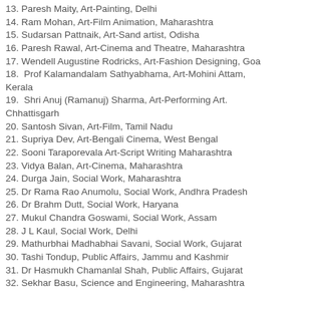13. Paresh Maity, Art-Painting, Delhi
14. Ram Mohan, Art-Film Animation, Maharashtra
15. Sudarsan Pattnaik, Art-Sand artist, Odisha
16. Paresh Rawal, Art-Cinema and Theatre, Maharashtra
17. Wendell Augustine Rodricks, Art-Fashion Designing, Goa
18. Prof Kalamandalam Sathyabhama, Art-Mohini Attam, Kerala
19. Shri Anuj (Ramanuj) Sharma, Art-Performing Art. Chhattisgarh
20. Santosh Sivan, Art-Film, Tamil Nadu
21. Supriya Dev, Art-Bengali Cinema, West Bengal
22. Sooni Taraporevala Art-Script Writing Maharashtra
23. Vidya Balan, Art-Cinema, Maharashtra
24. Durga Jain, Social Work, Maharashtra
25. Dr Rama Rao Anumolu, Social Work, Andhra Pradesh
26. Dr Brahm Dutt, Social Work, Haryana
27. Mukul Chandra Goswami, Social Work, Assam
28. J L Kaul, Social Work, Delhi
29. Mathurbhai Madhabhai Savani, Social Work, Gujarat
30. Tashi Tondup, Public Affairs, Jammu and Kashmir
31. Dr Hasmukh Chamanlal Shah, Public Affairs, Gujarat
32. Sekhar Basu, Science and Engineering, Maharashtra